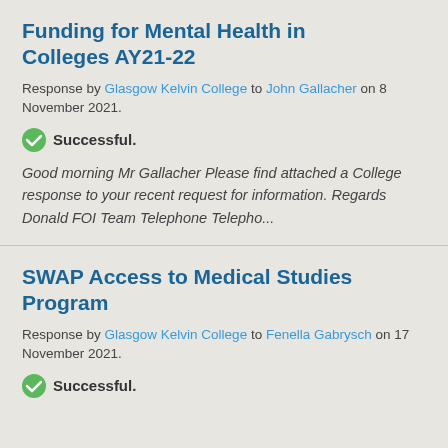Funding for Mental Health in Colleges AY21-22
Response by Glasgow Kelvin College to John Gallacher on 8 November 2021.
Successful.
Good morning Mr Gallacher Please find attached a College response to your recent request for information. Regards Donald FOI Team Telephone Telepho...
SWAP Access to Medical Studies Program
Response by Glasgow Kelvin College to Fenella Gabrysch on 17 November 2021.
Successful.